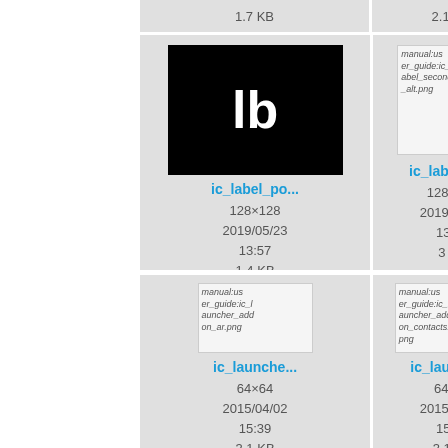1.7 KB
2.1 KB
[Figure (screenshot): File browser thumbnail showing ic_label_po... icon (black background with white 'lb' text), 128x128, 2019/05/23 13:57, 1.4 KB]
[Figure (screenshot): File browser thumbnail showing ic_label_se... placeholder image for manual:user_guide:ic_label_second_alt.png, 128x128, 2019/05/23 13:57, 3 KB]
[Figure (screenshot): Partial file browser thumbnail (right edge cut off)]
[Figure (screenshot): File browser thumbnail showing ic_launche... placeholder for manual:user_guide:ic_launcher_addon_ar.png, 64x64, 2015/04/02 15:39, 3.1 KB]
[Figure (screenshot): File browser thumbnail showing ic_launche... placeholder for manual:user_guide:ic_launcher_addon_contacts.png, 64x64, 2015/04/02 15:39, 3.1 KB]
[Figure (screenshot): Partial file browser thumbnail (right edge cut off)]